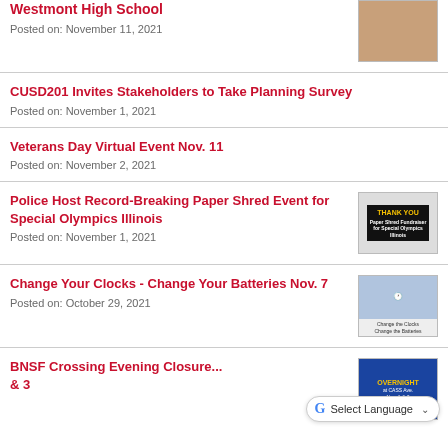Westmont High School
Posted on: November 11, 2021
CUSD201 Invites Stakeholders to Take Planning Survey
Posted on: November 1, 2021
Veterans Day Virtual Event Nov. 11
Posted on: November 2, 2021
Police Host Record-Breaking Paper Shred Event for Special Olympics Illinois
Posted on: November 1, 2021
Change Your Clocks - Change Your Batteries Nov. 7
Posted on: October 29, 2021
BNSF Crossing Evening Closure... & 3
Posted on: (truncated)